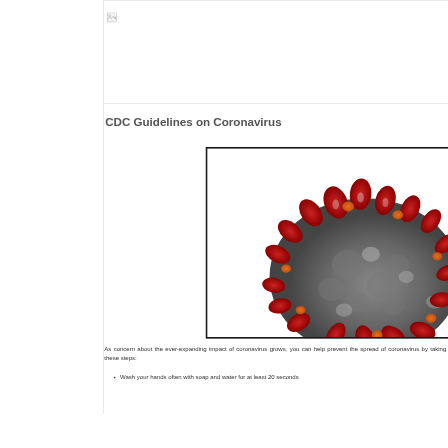[Figure (photo): Broken image placeholder icon in the header region]
CDC Guidelines on Coronavirus
[Figure (photo): Close-up microscope image of a coronavirus particle with red spike proteins and orange/gray surface texture, shown in a black-bordered box]
As concern about the ever-expanding impact of coronavirus grows, you can help prevent the spread of coronavirus by taking these steps:
Wash your hands often with soap and water for at least 20 seconds, especially after blowing your nose, coughing, sneezing, being in a public place, and after touching your nose, mouth, or eyes.